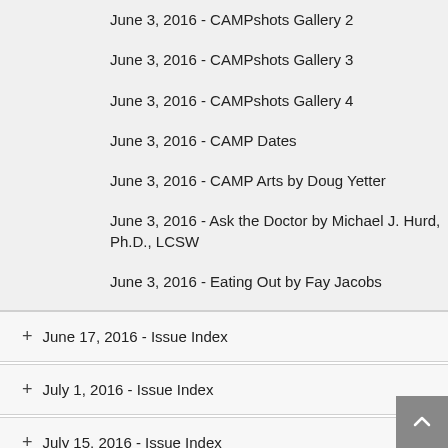June 3, 2016 - CAMPshots Gallery 2
June 3, 2016 - CAMPshots Gallery 3
June 3, 2016 - CAMPshots Gallery 4
June 3, 2016 - CAMP Dates
June 3, 2016 - CAMP Arts by Doug Yetter
June 3, 2016 - Ask the Doctor by Michael J. Hurd, Ph.D., LCSW
June 3, 2016 - Eating Out by Fay Jacobs
+ June 17, 2016 - Issue Index
+ July 1, 2016 - Issue Index
+ July 15, 2016 - Issue Index